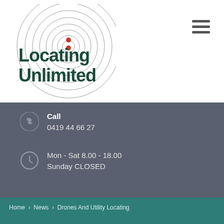[Figure (logo): Locating Unlimited company logo with concentric circle radar graphic and bold teal/dark green text]
≡ (hamburger menu icon)
Call
0419 44 66 27
Mon - Sat 8.00 - 18.00
Sunday CLOSED
Home > News > Drones And Utility Locating